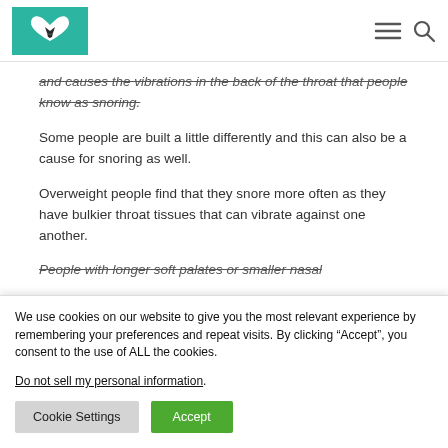and causes the vibrations in the back of the throat that people know as snoring.
Some people are built a little differently and this can also be a cause for snoring as well.
Overweight people find that they snore more often as they have bulkier throat tissues that can vibrate against one another.
People with longer soft palates or smaller nasal
We use cookies on our website to give you the most relevant experience by remembering your preferences and repeat visits. By clicking “Accept”, you consent to the use of ALL the cookies.
Do not sell my personal information.